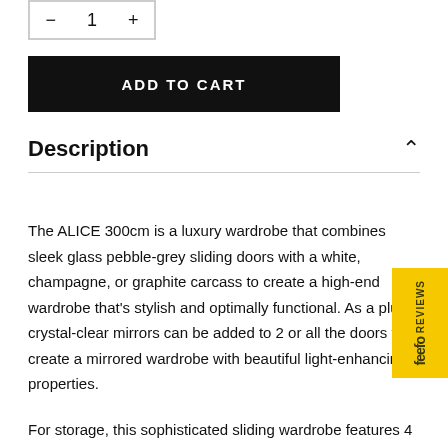— 1 +
ADD TO CART
Description
The ALICE 300cm is a luxury wardrobe that combines sleek glass pebble-grey sliding doors with a white, champagne, or graphite carcass to create a high-end wardrobe that's stylish and optimally functional. As a plus, crystal-clear mirrors can be added to 2 or all the doors to create a mirrored wardrobe with beautiful light-enhancing properties.
For storage, this sophisticated sliding wardrobe features 4 interior compartments complete with 2shelves and a hanging rail each. Synchro sliding doors then tuck your clothes away for